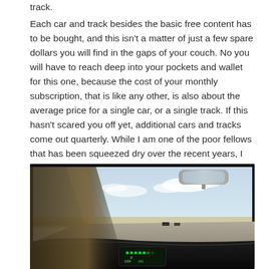track.
Each car and track besides the basic free content has to be bought, and this isn't a matter of just a few spare dollars you will find in the gaps of your couch. No you will have to reach deep into your pockets and wallet for this one, because the cost of your monthly subscription, that is like any other, is also about the average price for a single car, or a single track. If this hasn't scared you off yet, additional cars and tracks come out quarterly. While I am one of the poor fellows that has been squeezed dry over the recent years, I must admit, it is totally worth it.
[Figure (photo): Interior view from inside a race car on track, showing the dashboard with a digital display and LED strip, a rearview mirror at the top, the A-pillar on the left, and a race track with barriers and other cars visible through the windshield under a partly cloudy sky.]